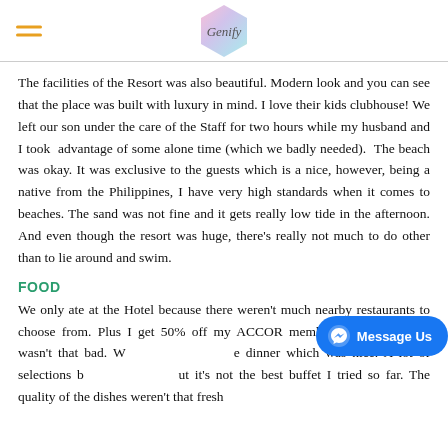Genify (logo)
The facilities of the Resort was also beautiful. Modern look and you can see that the place was built with luxury in mind. I love their kids clubhouse! We left our son under the care of the Staff for two hours while my husband and I took advantage of some alone time (which we badly needed). The beach was okay. It was exclusive to the guests which is a nice, however, being a native from the Philippines, I have very high standards when it comes to beaches. The sand was not fine and it gets really low tide in the afternoon. And even though the resort was huge, there's really not much to do other than to lie around and swim.
FOOD
We only ate at the Hotel because there weren't much nearby restaurants to choose from. Plus I get 50% off my ACCOR membership so the price wasn't that bad. W... dinner which was nice. A lot of selections b... buffet I tried so far. The quality of the dishes weren't that fresh